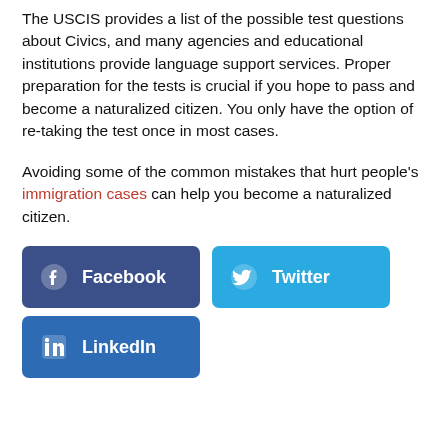The USCIS provides a list of the possible test questions about Civics, and many agencies and educational institutions provide language support services. Proper preparation for the tests is crucial if you hope to pass and become a naturalized citizen. You only have the option of re-taking the test once in most cases.
Avoiding some of the common mistakes that hurt people's immigration cases can help you become a naturalized citizen.
[Figure (other): Three social media share buttons: Facebook (dark blue), Twitter (light blue), LinkedIn (dark blue)]